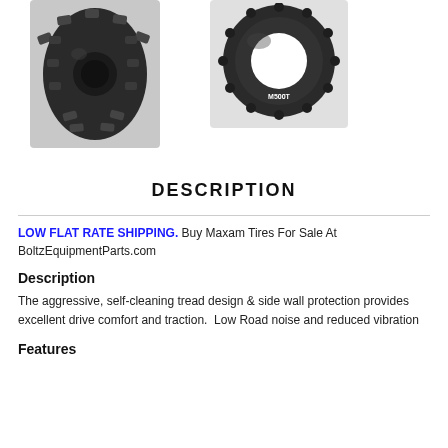[Figure (photo): Two Maxam tires shown side by side: left tire is a tread-side view of a black off-road tire, right tire is a face-on view showing the ring/hole of the tire.]
DESCRIPTION
LOW FLAT RATE SHIPPING. Buy Maxam Tires For Sale At BoltzEquipmentParts.com
Description
The aggressive, self-cleaning tread design & side wall protection provides excellent drive comfort and traction.  Low Road noise and reduced vibration
Features